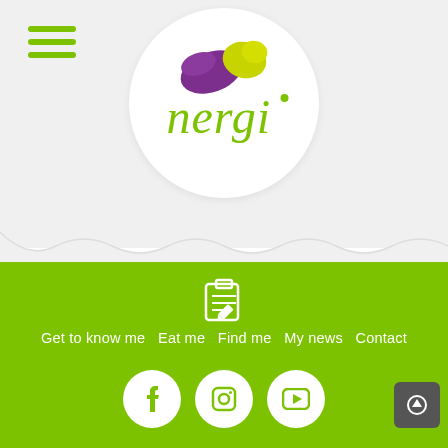[Figure (logo): Nergi brand logo with purple and yellow leaf shapes above green cursive text reading 'nergi']
[Figure (infographic): Green footer navigation area with clipboard icon, navigation links (Get to know me, Eat me, Find me, My news, Contact), Facebook, Instagram, YouTube social icons, and scroll-to-top button]